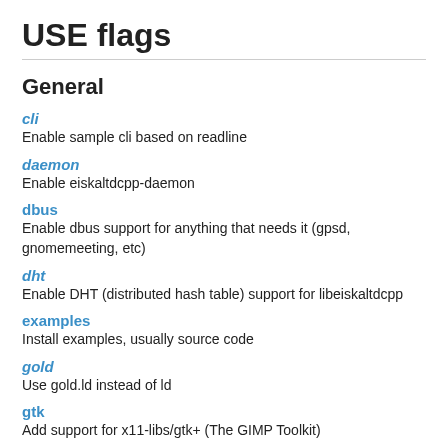USE flags
General
cli
Enable sample cli based on readline
daemon
Enable eiskaltdcpp-daemon
dbus
Enable dbus support for anything that needs it (gpsd, gnomemeeting, etc)
dht
Enable DHT (distributed hash table) support for libeiskaltdcpp
examples
Install examples, usually source code
gold
Use gold.ld instead of ld
gtk
Add support for x11-libs/gtk+ (The GIMP Toolkit)
idn